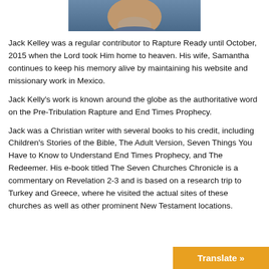[Figure (photo): Bottom portion of a man's head/face photo against a blue background]
Jack Kelley was a regular contributor to Rapture Ready until October, 2015 when the Lord took Him home to heaven. His wife, Samantha continues to keep his memory alive by maintaining his website and missionary work in Mexico.
Jack Kelly's work is known around the globe as the authoritative word on the Pre-Tribulation Rapture and End Times Prophecy.
Jack was a Christian writer with several books to his credit, including Children's Stories of the Bible, The Adult Version, Seven Things You Have to Know to Understand End Times Prophecy, and The Redeemer. His e-book titled The Seven Churches Chronicle is a commentary on Revelation 2-3 and is based on a research trip to Turkey and Greece, where he visited the actual sites of these churches as well as other prominent New Testament locations.